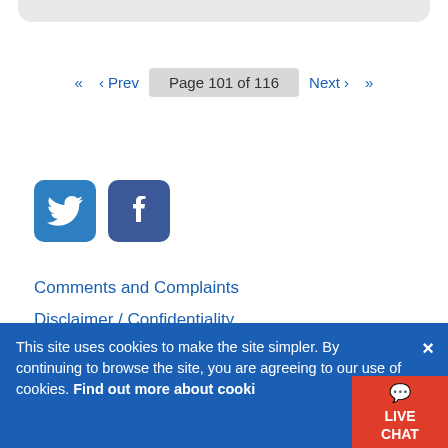Page 101 of 116
[Figure (logo): Twitter and Facebook social media icons (rounded square buttons)]
Comments and Complaints
Disclaimer / Confidentiality
Standards of Service    What you need to know
Accessibility
This site uses cookies to make the site simpler. By continuing to browse the site, you are agreeing to our use of cookies. Find out more about cookies